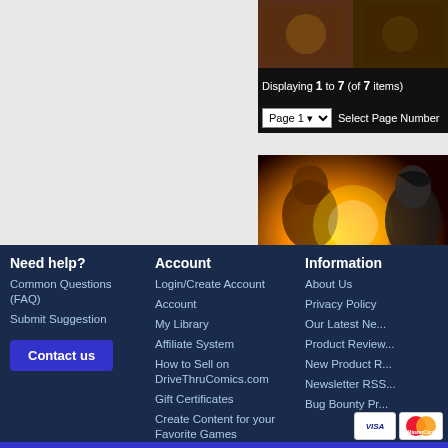[Figure (illustration): Comic book cover image cropped, showing dark fantasy artwork]
Displaying 1 to 7 (of 7 items)
Page 1 ▾  Select Page Number
[Figure (illustration): Comic book banner artwork showing female characters with fire/energy effects]
Need help?
Common Questions (FAQ)
Submit Suggestion
Contact us
Account
Login/Create Account
Account
My Library
Affiliate System
How to Sell on DriveThruComics.com
Gift Certificates
Create Content for your Favorite Games
Information
About Us
Privacy Policy
Our Latest Ne...
Product Review...
New Product R...
Newsletter RSS...
Bug Bounty Pr...
[Figure (other): Visa and MasterCard payment icons]